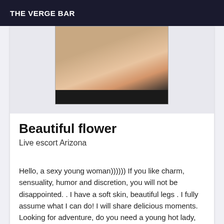THE VERGE BAR
[Figure (photo): Partial photo of a person in a pink bikini top, cropped, with dark bar at bottom]
Beautiful flower
Live escort Arizona
Hello, a sexy young woman)))))) If you like charm, sensuality, humor and discretion, you will not be disappointed. . I have a soft skin, beautiful legs . I fully assume what I can do! I will share delicious moments. Looking for adventure, do you need a young hot lady,